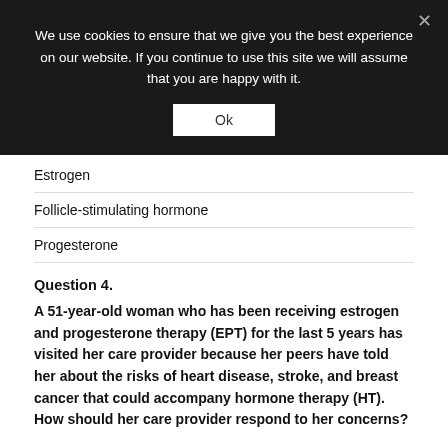We use cookies to ensure that we give you the best experience on our website. If you continue to use this site we will assume that you are happy with it.
Ok
Estrogen
Follicle-stimulating hormone
Progesterone
Question 4.
A 51-year-old woman who has been receiving estrogen and progesterone therapy (EPT) for the last 5 years has visited her care provider because her peers have told her about the risks of heart disease, stroke, and breast cancer that could accompany hormone therapy (HT). How should her care provider respond to her concerns?